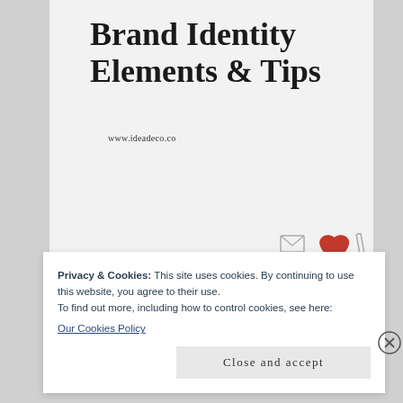Brand Identity Elements & Tips
www.ideadeco.co
[Figure (illustration): A red heart-shaped blog icon with the word 'Blog' in script lettering, flanked by small email and pencil icons]
Privacy & Cookies: This site uses cookies. By continuing to use this website, you agree to their use.
To find out more, including how to control cookies, see here:
Our Cookies Policy
Close and accept